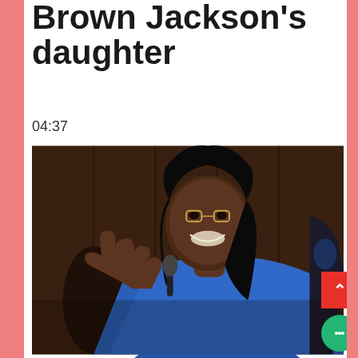Brown Jackson's daughter
04:37
[Figure (photo): Ketanji Brown Jackson smiling and gesturing with her hands at her Senate confirmation hearing, wearing a blue jacket, photographed against a dark wood-paneled background]
What Kentaji Brown Jackson's confirmation hearing says about the GOP